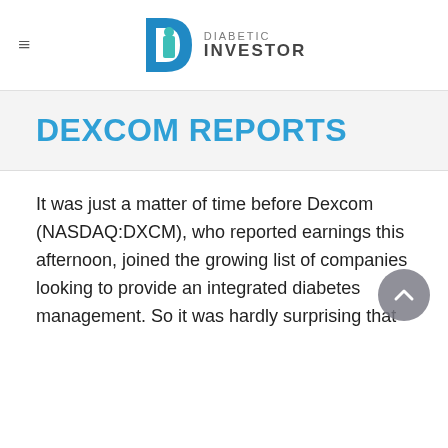DIABETIC INVESTOR
DEXCOM REPORTS
It was just a matter of time before Dexcom (NASDAQ:DXCM), who reported earnings this afternoon, joined the growing list of companies looking to provide an integrated diabetes management. So it was hardly surprising that